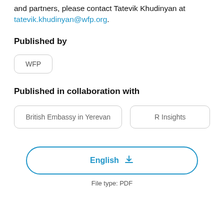and partners, please contact Tatevik Khudinyan at tatevik.khudinyan@wfp.org.
Published by
WFP
Published in collaboration with
British Embassy in Yerevan
R Insights
English (download)
File type: PDF